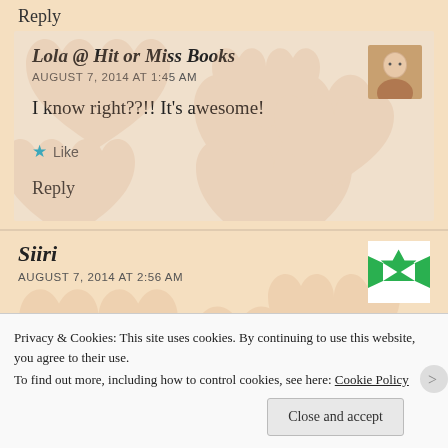Reply
Lola @ Hit or Miss Books
AUGUST 7, 2014 AT 1:45 AM
I know right??!! It's awesome!
Like
Reply
Siiri
AUGUST 7, 2014 AT 2:56 AM
Privacy & Cookies: This site uses cookies. By continuing to use this website, you agree to their use. To find out more, including how to control cookies, see here: Cookie Policy
Close and accept